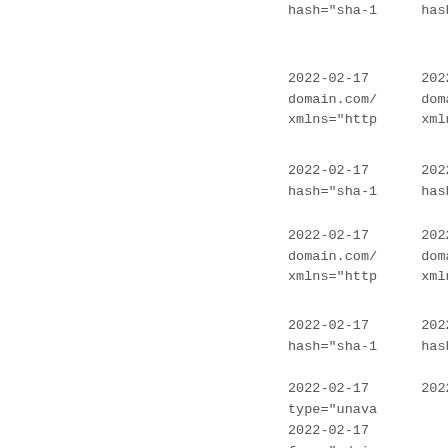hash="sha-1
2022-02-17
domain.com/
xmlns="http
2022-02-17
hash="sha-1
2022-02-17
domain.com/
xmlns="http
2022-02-17
hash="sha-1
2022-02-17
domain.com/
xmlns="http
2022-02-17
type="unava
2022-02-17
from="admir